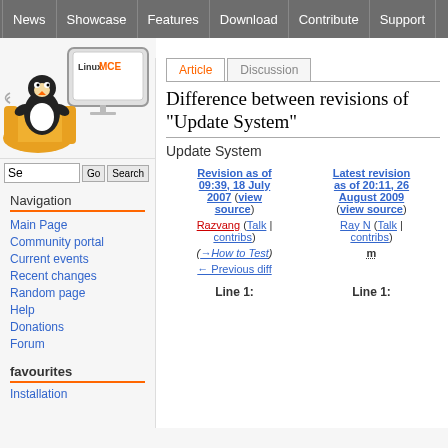News | Showcase | Features | Download | Contribute | Support
[Figure (logo): LinuxMCE logo with penguin sitting in armchair watching TV screen]
Create account  Log in
Article  Discussion
Se... Go  Search
Navigation
Main Page
Community portal
Current events
Recent changes
Random page
Help
Donations
Forum
favourites
Installation
Difference between revisions of "Update System"
Update System
| Revision as of 09:39, 18 July 2007 (view source) | Latest revision as of 20:11, 26 August 2009 (view source) |
| --- | --- |
| Razvang (Talk | contribs) | Ray N (Talk | contribs) |
| (→How to Test) | m |
| ← Previous diff |  |
Line 1:
Line 1: